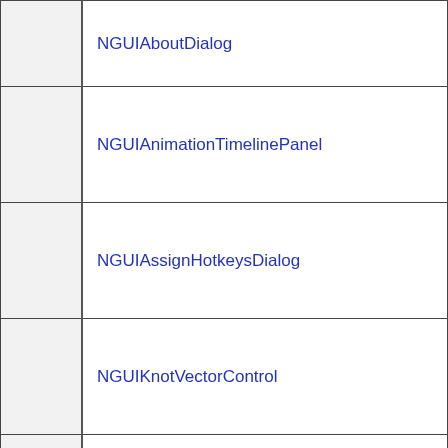|  |  |
| --- | --- |
|  | NGUIAboutDialog |
|  | NGUIAnimationTimelinePanel |
|  | NGUIAssignHotkeysDialog |
|  | NGUIKnotVectorControl |
|  | NGUILearningDialog |
|  | NGUILogDialog |
|  | NGUIMeshControl |
|  | NGUIMorphPointsPage |
|  | NGUINodeListPanel |
|  | NGUINodePropertiesPanel |
|  | NGUISomethingDialog |